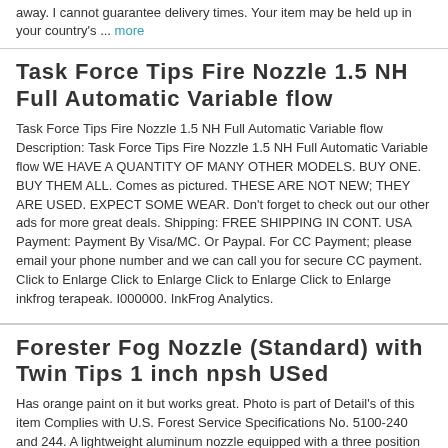away. I cannot guarantee delivery times. Your item may be held up in your country's ... more
Task Force Tips Fire Nozzle 1.5 NH Full Automatic Variable flow
Task Force Tips Fire Nozzle 1.5 NH Full Automatic Variable flow Description: Task Force Tips Fire Nozzle 1.5 NH Full Automatic Variable flow WE HAVE A QUANTITY OF MANY OTHER MODELS. BUY ONE. BUY THEM ALL. Comes as pictured. THESE ARE NOT NEW; THEY ARE USED. EXPECT SOME WEAR. Don't forget to check out our other ads for more great deals. Shipping: FREE SHIPPING IN CONT. USA Payment: Payment By Visa/MC. Or Paypal. For CC Payment; please email your phone number and we can call you for secure CC payment. Click to Enlarge Click to Enlarge Click to Enlarge Click to Enlarge inkfrog terapeak. I000000. InkFrog Analytics.
Forester Fog Nozzle (Standard) with Twin Tips 1 inch npsh USed
Has orange paint on it but works great. Photo is part of Detail's of this item Complies with U.S. Forest Service Specifications No. 5100-240 and 244. A lightweight aluminum nozzle equipped with a three position valve for instant selection of fog. Straight stream or shut-off with a wide choice of tip capacity and pattern. The Forester Fog-Stream Nozzle is designed specifically to meet U.S. Forest Service requirements for maximum efficiency of water pattern. Comes standard with 3/16" straight stream and 3 GPM fog tips